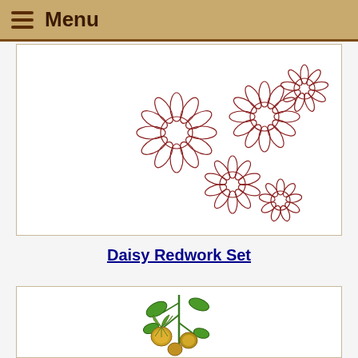Menu
[Figure (illustration): Daisy flower outlines drawn in red/dark red ink, arranged in a cluster pattern across the upper-right of the card. Multiple daisy flowers with petals and centers shown in redwork embroidery style.]
Daisy Redwork Set
[Figure (illustration): A colorful embroidered plant illustration showing orange/yellow tomatillo or physalis fruits with green husks hanging on a green stem with leaves. Botanical embroidery style with detailed shading.]